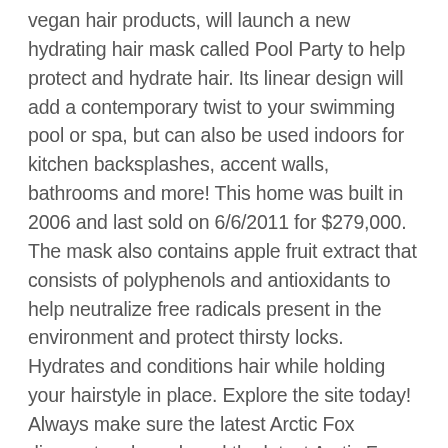vegan hair products, will launch a new hydrating hair mask called Pool Party to help protect and hydrate hair. Its linear design will add a contemporary twist to your swimming pool or spa, but can also be used indoors for kitchen backsplashes, accent walls, bathrooms and more! This home was built in 2006 and last sold on 6/6/2011 for $279,000. The mask also contains apple fruit extract that consists of polyphenols and antioxidants to help neutralize free radicals present in the environment and protect thirsty locks. Hydrates and conditions hair while holding your hairstyle in place. Explore the site today! Always make sure the latest Arctic Fox discount code and read the latest Arctic Fox review. ft. single-family home is a 4 bed, 3.0 bath property. I am testing out Arctic Fox bleach please. You can use this as a styling product too! ABOUT ARCTIC FOX SAN DIEGO (PPWER) We are in the Arctic therefore small